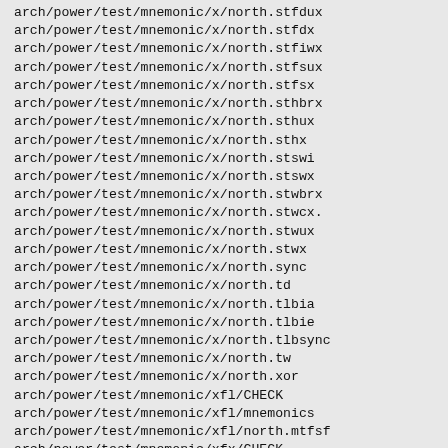arch/power/test/mnemonic/x/north.stfdux
arch/power/test/mnemonic/x/north.stfdx
arch/power/test/mnemonic/x/north.stfiwx
arch/power/test/mnemonic/x/north.stfsux
arch/power/test/mnemonic/x/north.stfsx
arch/power/test/mnemonic/x/north.sthbrx
arch/power/test/mnemonic/x/north.sthux
arch/power/test/mnemonic/x/north.sthx
arch/power/test/mnemonic/x/north.stswi
arch/power/test/mnemonic/x/north.stswx
arch/power/test/mnemonic/x/north.stwbrx
arch/power/test/mnemonic/x/north.stwcx.
arch/power/test/mnemonic/x/north.stwux
arch/power/test/mnemonic/x/north.stwx
arch/power/test/mnemonic/x/north.sync
arch/power/test/mnemonic/x/north.td
arch/power/test/mnemonic/x/north.tlbia
arch/power/test/mnemonic/x/north.tlbie
arch/power/test/mnemonic/x/north.tlbsync
arch/power/test/mnemonic/x/north.tw
arch/power/test/mnemonic/x/north.xor
arch/power/test/mnemonic/xfl/CHECK
arch/power/test/mnemonic/xfl/mnemonics
arch/power/test/mnemonic/xfl/north.mtfsf
arch/power/test/mnemonic/xfx/CHECK
arch/power/test/mnemonic/xfx/mnemonics
arch/power/test/mnemonic/xfx/north.mfspr
arch/power/test/mnemonic/xfx/north.mftb
arch/power/test/mnemonic/xfx/north.mtcrf
arch/power/test/mnemonic/xfx/north.mtspr